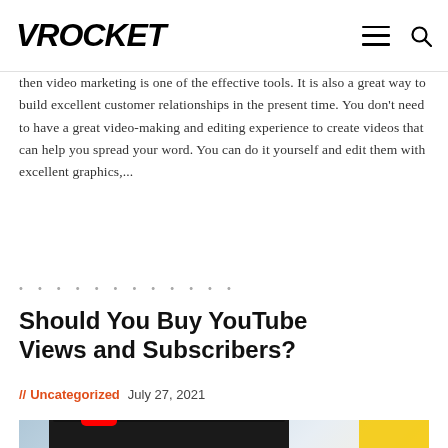VROCKET
then video marketing is one of the effective tools. It is also a great way to build excellent customer relationships in the present time. You don't need to have a great video-making and editing experience to create videos that can help you spread your word. You can do it yourself and edit them with excellent graphics,...
Should You Buy YouTube Views and Subscribers?
// Uncategorized  July 27, 2021
[Figure (photo): A YouTube logo/interface shown on a tablet screen, with wooden sticks and a yellow bar visible in the background]